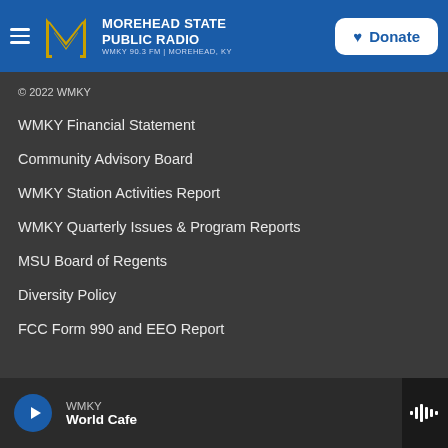Morehead State Public Radio — WMKY 90.3 FM | Morehead, KY — Donate
© 2022 WMKY
WMKY Financial Statement
Community Advisory Board
WMKY Station Activities Report
WMKY Quarterly Issues & Program Reports
MSU Board of Regents
Diversity Policy
FCC Form 990 and EEO Report
WMKY — World Cafe